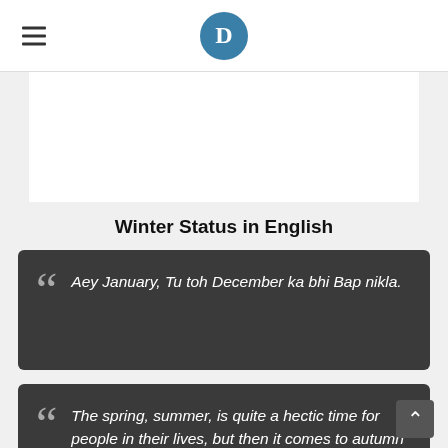D
[Figure (other): White advertisement/blank area]
Winter Status in English
Aey January, Tu toh December ka bhi Bap nikla.
The spring, summer, is quite a hectic time for people in their lives, but then it comes to autumn and to winter.